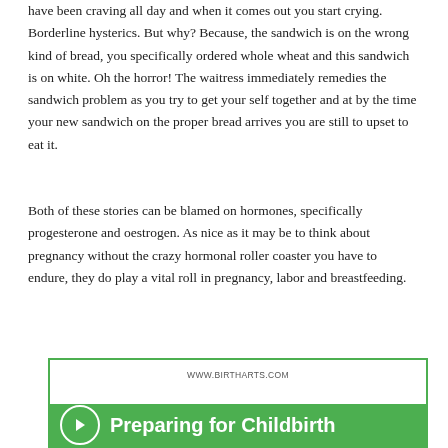have been craving all day and when it comes out you start crying. Borderline hysterics. But why? Because, the sandwich is on the wrong kind of bread, you specifically ordered whole wheat and this sandwich is on white. Oh the horror! The waitress immediately remedies the sandwich problem as you try to get your self together and at by the time your new sandwich on the proper bread arrives you are still to upset to eat it.
Both of these stories can be blamed on hormones, specifically progesterone and oestrogen. As nice as it may be to think about pregnancy without the crazy hormonal roller coaster you have to endure, they do play a vital roll in pregnancy, labor and breastfeeding.
[Figure (infographic): An advertisement box with a green border. At the top center is the URL 'WWW.BIRTHARTS.COM'. At the bottom is a green bar with a white circle containing an arrow icon on the left, and the text 'Preparing for Childbirth' in white on the right.]